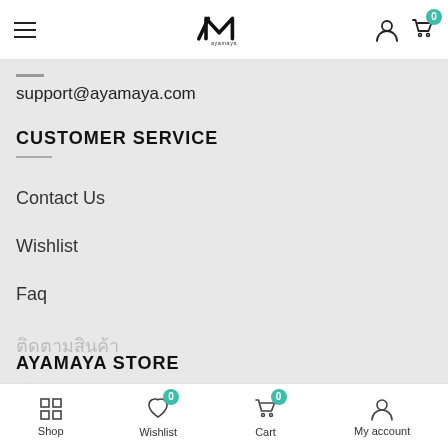ayamaya – navigation header with hamburger menu, logo, user icon, cart icon (0)
support@ayamaya.com
CUSTOMER SERVICE
Contact Us
Wishlist
Faq
ติดตามสินค้า
นโยบายคืนสินค้า
Privacy Policy
AYAMAYA STORE
Shop | Wishlist (0) | Cart (0) | My account